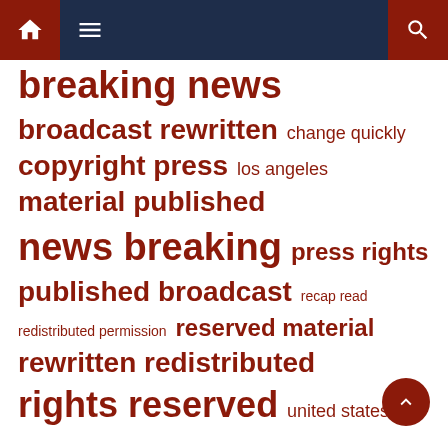Navigation bar with home, menu, and search icons
breaking news
broadcast rewritten  change quickly
copyright press  los angeles
material published
news breaking  press rights
published broadcast  recap read
redistributed permission  reserved material
rewritten redistributed
rights reserved  united states